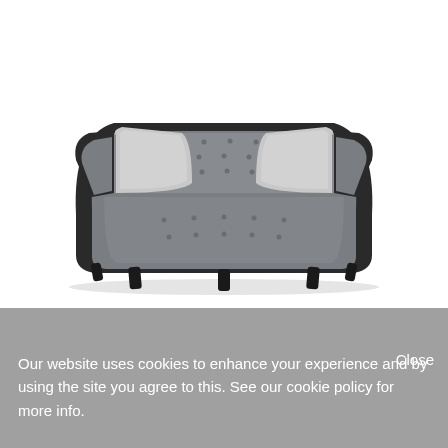[Figure (photo): A modern mid-century style gray tufted sofa with dark wooden legs and two light gray throw pillows, photographed on a white background.]
Our website uses cookies to enhance your experience and by using the site you agree to this. See our cookie policy for more info.
Close